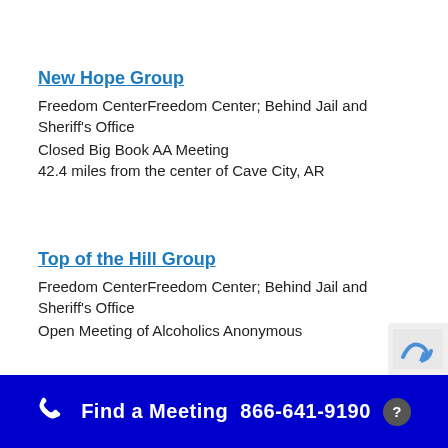New Hope Group
Freedom CenterFreedom Center; Behind Jail and Sheriff's Office
Closed Big Book AA Meeting
42.4 miles from the center of Cave City, AR
Top of the Hill Group
Freedom CenterFreedom Center; Behind Jail and Sheriff's Office
Open Meeting of Alcoholics Anonymous
Find a Meeting  866-641-9190